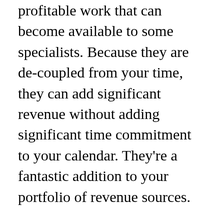profitable work that can become available to some specialists. Because they are de-coupled from your time, they can add significant revenue without adding significant time commitment to your calendar. They're a fantastic addition to your portfolio of revenue sources.
No client loves the idea of spending multiple thousands of dollars an hour on a consultant (though some love the feeling of power that comes from being able to spend like this). However, in the wasteful situations described above,